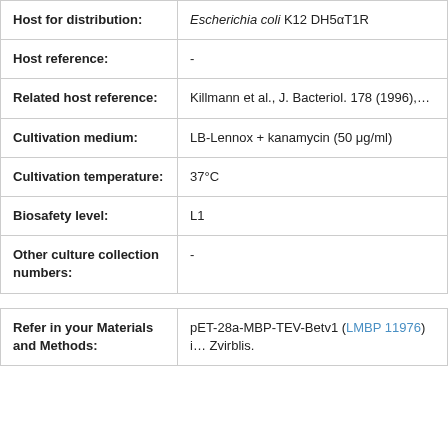| Field | Value |
| --- | --- |
| Host for distribution: | Escherichia coli K12 DH5αT1R |
| Host reference: | - |
| Related host reference: | Killmann et al., J. Bacteriol. 178 (1996),… |
| Cultivation medium: | LB-Lennox + kanamycin (50 μg/ml) |
| Cultivation temperature: | 37°C |
| Biosafety level: | L1 |
| Other culture collection numbers: | - |
| Field | Value |
| --- | --- |
| Refer in your Materials and Methods: | pET-28a-MBP-TEV-Betv1 (LMBP 11976) i… Zvirblis. |